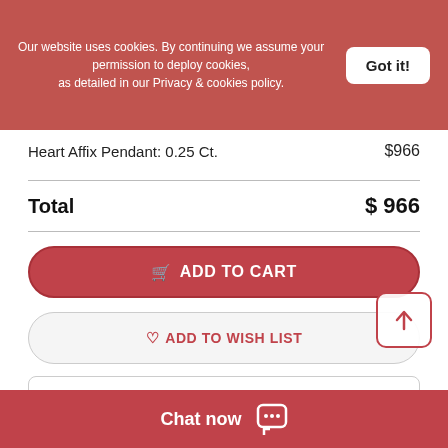Our website uses cookies. By continuing we assume your permission to deploy cookies, as detailed in our Privacy & cookies policy.
Got it!
Heart Affix Pendant: 0.25 Ct.  $966
Total  $ 966
ADD TO CART
ADD TO WISH LIST
SHARE
Product Specifications
SETTING INFORM…
Chat now